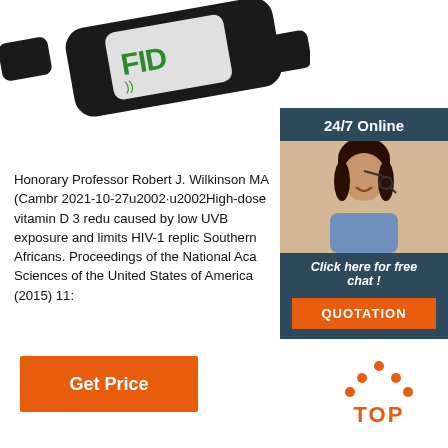[Figure (photo): RFID wristband/bracelet with green RFID logo and text on white panel, black band]
[Figure (photo): 24/7 Online chat widget sidebar with woman wearing headset, dark blue background, orange QUOTATION button]
Honorary Professor Robert J. Wilkinson MA (Cambr 2021-10-27u2002·u2002High-dose vitamin D 3 redu caused by low UVB exposure and limits HIV-1 replic Southern Africans. Proceedings of the National Aca Sciences of the United States of America (2015) 11:
[Figure (other): Get Price orange button]
[Figure (other): TOP icon with orange dots forming house/arrow shape and TOP text in orange]